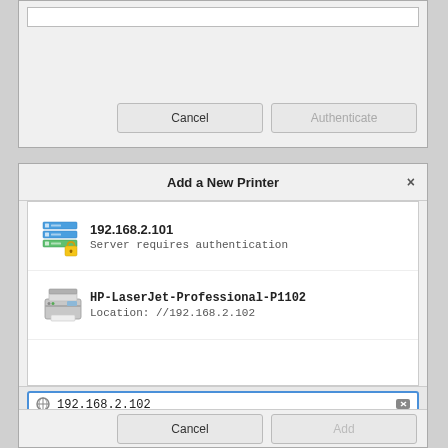[Figure (screenshot): Top fragment of an authentication dialog showing a text input field and Cancel / Authenticate buttons]
[Figure (screenshot): Add a New Printer dialog showing two list items: 192.168.2.101 (Server requires authentication) with a server+lock icon, and HP-LaserJet-Professional-P1102 (Location: //192.168.2.102) with a printer icon. A text input at the bottom shows 192.168.2.102 with a location pin icon, and Cancel / Add buttons at the bottom.]